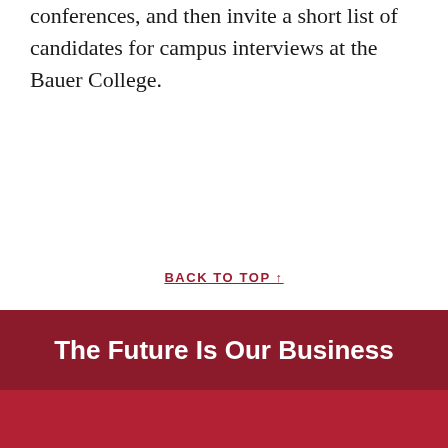conferences, and then invite a short list of candidates for campus interviews at the Bauer College.
BACK TO TOP ↑
The Future Is Our Business